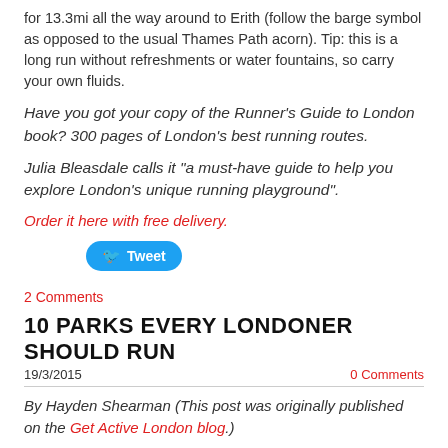for 13.3mi all the way around to Erith (follow the barge symbol as opposed to the usual Thames Path acorn). Tip: this is a long run without refreshments or water fountains, so carry your own fluids.
Have you got your copy of the Runner's Guide to London book? 300 pages of London's best running routes.
Julia Bleasdale calls it "a must-have guide to help you explore London's unique running playground".
Order it here with free delivery.
[Figure (other): Twitter Tweet button]
2 Comments
10 PARKS EVERY LONDONER SHOULD RUN
19/3/2015   0 Comments
By Hayden Shearman (This post was originally published on the Get Active London blog.)